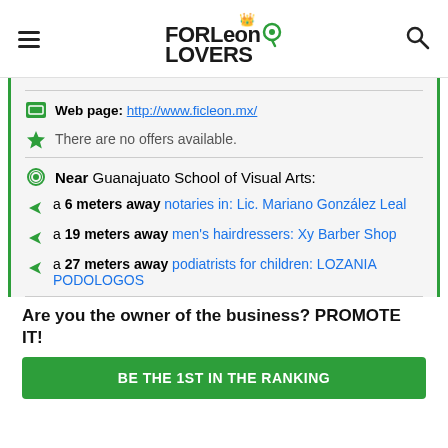FORLeon LOVERS
Web page: http://www.ficleon.mx/
There are no offers available.
Near Guanajuato School of Visual Arts:
a 6 meters away notaries in: Lic. Mariano González Leal
a 19 meters away men's hairdressers: Xy Barber Shop
a 27 meters away podiatrists for children: LOZANIA PODOLOGOS
Are you the owner of the business? PROMOTE IT!
BE THE 1ST IN THE RANKING